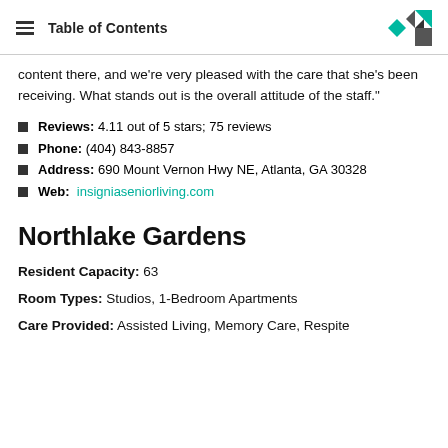Table of Contents
content there, and we're very pleased with the care that she's been receiving. What stands out is the overall attitude of the staff."
Reviews: 4.11 out of 5 stars; 75 reviews
Phone: (404) 843-8857
Address: 690 Mount Vernon Hwy NE, Atlanta, GA 30328
Web: insigniaseniorliving.com
Northlake Gardens
Resident Capacity: 63
Room Types: Studios, 1-Bedroom Apartments
Care Provided: Assisted Living, Memory Care, Respite